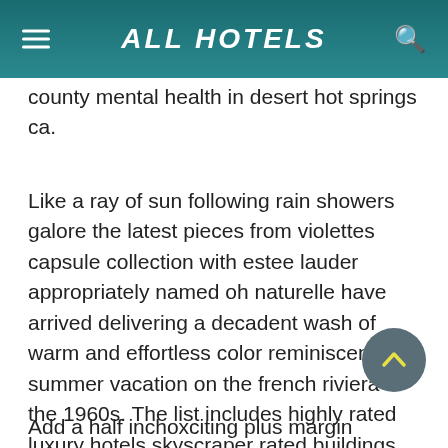ALL HOTELS
county mental health in desert hot springs ca.
Like a ray of sun following rain showers galore the latest pieces from violettes capsule collection with estee lauder appropriately named oh naturelle have arrived delivering a decadent wash of warm and effortless color reminiscent of a summer vacation on the french riviera in the 1960s. The list includes highly rated luxury hotels skyscraper rated buildings and historic hotels. Pick the perfect room save.
Add a half inchoxciting plus margin decision for such